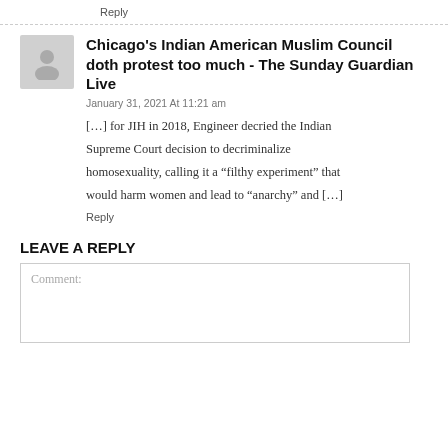Reply
Chicago's Indian American Muslim Council doth protest too much - The Sunday Guardian Live
January 31, 2021 At 11:21 am
[…] for JIH in 2018, Engineer decried the Indian Supreme Court decision to decriminalize homosexuality, calling it a “filthy experiment” that would harm women and lead to “anarchy” and […]
Reply
LEAVE A REPLY
Comment: